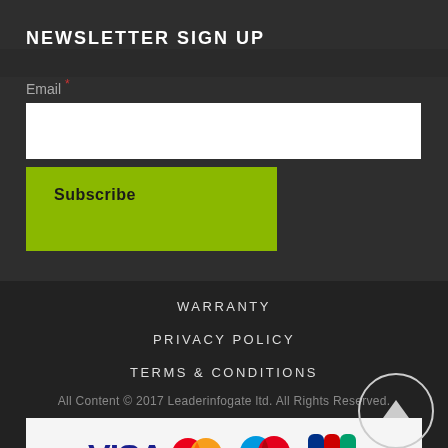NEWSLETTER SIGN UP
Email *
Subscribe
WARRANTY
PRIVACY POLICY
TERMS & CONDITIONS
All Content © 2017 Leaderinfogate ltd. All Rights Reserved.
[Figure (logo): Payment method logos: VISA, MasterCard, Maestro, JCB]